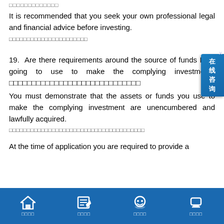□□□□□□□□□□□□□
It is recommended that you seek your own professional legal and financial advice before investing.
□□□□□□□□□□□□□□□□□□□□□□
19. Are there requirements around the source of funds I am going to use to make the complying investment? □□□□□□□□□□□□□□□□□□□□
You must demonstrate that the assets or funds you use to make the complying investment are unencumbered and lawfully acquired.
□□□□□□□□□□□□□□□□□□□□□□□□□□□□□□□□□□□□□□□□
At the time of application you are required to provide a
□□□□ □□□□ □□□□ □□□□